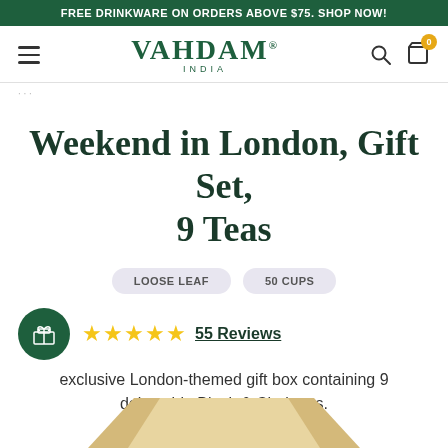FREE DRINKWARE ON ORDERS ABOVE $75. SHOP NOW!
[Figure (logo): VAHDAM INDIA logo in dark green serif font with hamburger menu, search icon, and cart icon with badge showing 0]
· · ·
Weekend in London, Gift Set, 9 Teas
LOOSE LEAF   50 CUPS
★★★★★ 55 Reviews
exclusive London-themed gift box containing 9 delectable Black & Chai teas.